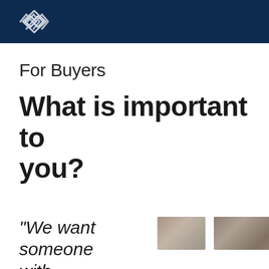[Real estate company logo]
For Buyers
What is important to you?
“We want someone with
[Figure (photo): Two partially visible photos of people, blurred/cropped]